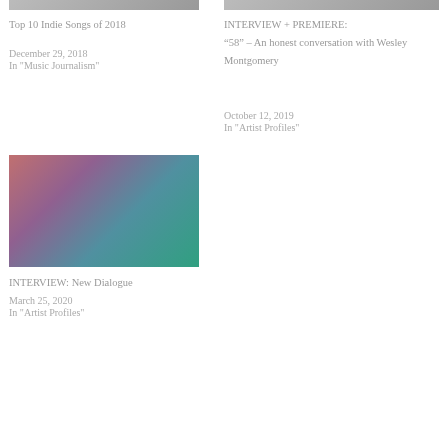[Figure (photo): Top image left column - cropped photo of people/musicians]
Top 10 Indie Songs of 2018
December 29, 2018
In "Music Journalism"
[Figure (photo): Top image right column - cropped group photo]
INTERVIEW + PREMIERE: “58” – An honest conversation with Wesley Montgomery
October 12, 2019
In "Artist Profiles"
[Figure (photo): Bottom image left column - group photo of band members in colorful setting]
INTERVIEW: New Dialogue
March 25, 2020
In "Artist Profiles"